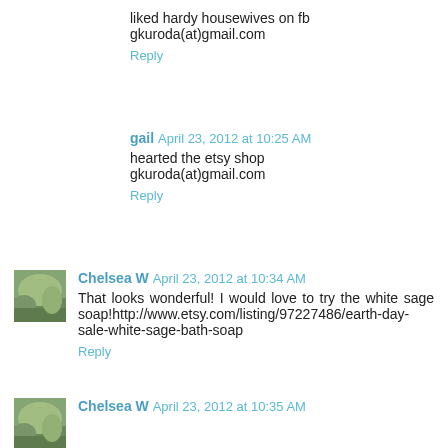liked hardy housewives on fb
gkuroda(at)gmail.com
Reply
gail April 23, 2012 at 10:25 AM
hearted the etsy shop
gkuroda(at)gmail.com
Reply
[Figure (photo): Avatar thumbnail of Chelsea W, outdoor nature scene]
Chelsea W April 23, 2012 at 10:34 AM
That looks wonderful! I would love to try the white sage soap!http://www.etsy.com/listing/97227486/earth-day-sale-white-sage-bath-soap
Reply
[Figure (photo): Avatar thumbnail of Chelsea W, outdoor nature scene]
Chelsea W April 23, 2012 at 10:35 AM